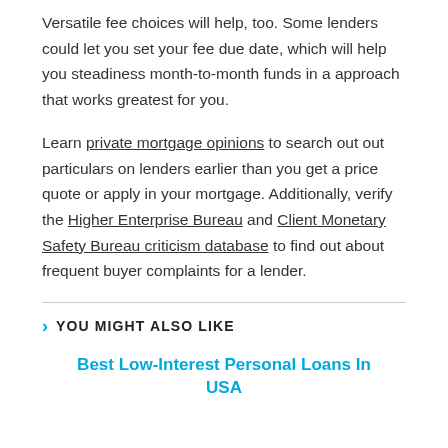Versatile fee choices will help, too. Some lenders could let you set your fee due date, which will help you steadiness month-to-month funds in a approach that works greatest for you.
Learn private mortgage opinions to search out out particulars on lenders earlier than you get a price quote or apply in your mortgage. Additionally, verify the Higher Enterprise Bureau and Client Monetary Safety Bureau criticism database to find out about frequent buyer complaints for a lender.
YOU MIGHT ALSO LIKE
Best Low-Interest Personal Loans In USA